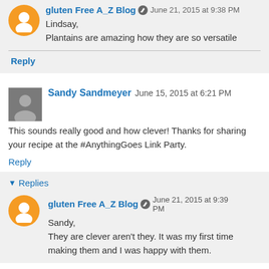gluten Free A_Z Blog  June 21, 2015 at 9:38 PM
Lindsay,
Plantains are amazing how they are so versatile
Reply
Sandy Sandmeyer  June 15, 2015 at 6:21 PM
This sounds really good and how clever! Thanks for sharing your recipe at the #AnythingGoes Link Party.
Reply
Replies
gluten Free A_Z Blog  June 21, 2015 at 9:39 PM
Sandy,
They are clever aren't they. It was my first time making them and I was happy with them.